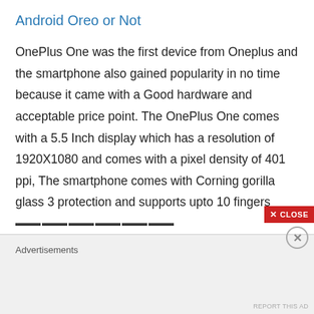Android Oreo or Not
OnePlus One was the first device from Oneplus and the smartphone also gained popularity in no time because it came with a Good hardware and acceptable price point. The OnePlus One comes with a 5.5 Inch display which has a resolution of 1920X1080 and comes with a pixel density of 401 ppi, The smartphone comes with Corning gorilla glass 3 protection and supports upto 10 fingers which help in playing games easily.
Advertisements